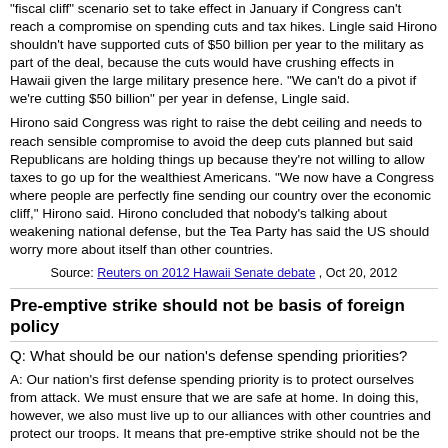"fiscal cliff" scenario set to take effect in January if Congress can't reach a compromise on spending cuts and tax hikes. Lingle said Hirono shouldn't have supported cuts of $50 billion per year to the military as part of the deal, because the cuts would have crushing effects in Hawaii given the large military presence here. "We can't do a pivot if we're cutting $50 billion" per year in defense, Lingle said.
Hirono said Congress was right to raise the debt ceiling and needs to reach sensible compromise to avoid the deep cuts planned but said Republicans are holding things up because they're not willing to allow taxes to go up for the wealthiest Americans. "We now have a Congress where people are perfectly fine sending our country over the economic cliff," Hirono said. Hirono concluded that nobody's talking about weakening national defense, but the Tea Party has said the US should worry more about itself than other countries.
Source: Reuters on 2012 Hawaii Senate debate , Oct 20, 2012
Pre-emptive strike should not be basis of foreign policy
Q: What should be our nation’s defense spending priorities?
A: Our nation’s first defense spending priority is to protect ourselves from attack. We must ensure that we are safe at home. In doing this, however, we also must live up to our alliances with other countries and protect our troops. It means that pre-emptive strike should not be the basis of our foreign policy. [Also] we need to eliminate spending on out-dated Cold War-era weapon systems.
Source: 2006 Senate campaign website, mazieforcongress.com, “Issues” , Nov 7, 2006
Voted YES on requiring FISA warrants for wiretaps in